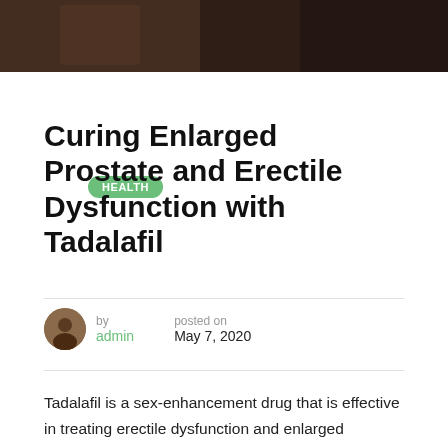[Figure (photo): Dark photograph showing a person, cropped at top of page]
HEALTH
Curing Enlarged Prostate and Erectile Dysfunction with Tadalafil
by admin  posted on May 7, 2020
Tadalafil is a sex-enhancement drug that is effective in treating erectile dysfunction and enlarged prostate. It relaxes the muscles located in the blood vessels, thereby increasing blood flow into the penis. Cialis, a